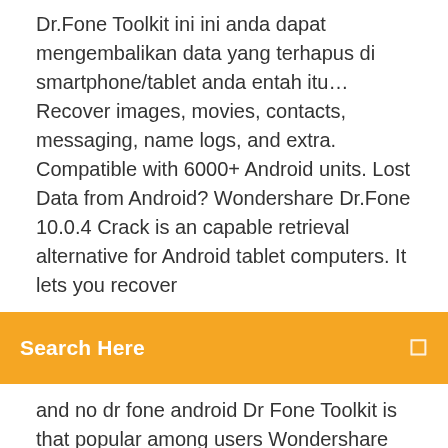Dr.Fone Toolkit ini ini anda dapat mengembalikan data yang terhapus di smartphone/tablet anda entah itu… Recover images, movies, contacts, messaging, name logs, and extra. Compatible with 6000+ Android units. Lost Data from Android? Wondershare Dr.Fone 10.0.4 Crack is an capable retrieval alternative for Android tablet computers. It lets you recover
Search Here
and no dr fone android Dr Fone Toolkit is that popular among users Wondershare Dr.Fone For Android & iOS Serial Key + Registration key Full Download Wondershare Dr.Fone Crack is a great tool for recovering photos, articles, movies, links, and all your relentlessly taken data from your iPhone, iPad or iPod… Wondershare Dr.Fone 9 Crack Toolkit For Android 2018 is a handy program for recovering lost data from Android mobile devices.
Dr.Fone by Wondershare is a superb application that makes